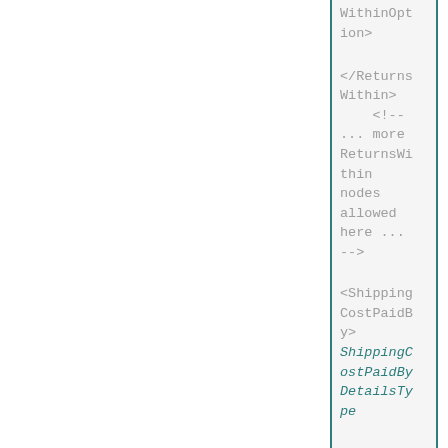WithinOption>

</ReturnsWithin>
    <!-- ... more ReturnsWithin nodes allowed here ... -->

<ShippingCostPaidBy>
ShippingCostPaidByDetailsType

Required